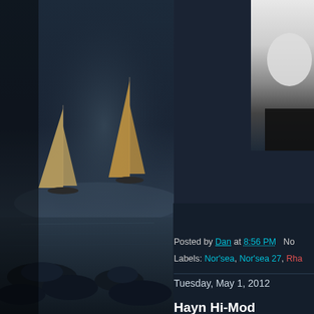[Figure (photo): Left half of page: dark ocean/seascape photograph at dusk with rock formations in foreground and two sailboats with sails visible in the middle distance, dark moody sky]
[Figure (photo): Top right corner: partial image of a person, mostly white/light tones, cropped]
Posted by Dan at 8:56 PM  No
Labels: Nor'sea, Nor'sea 27, Rha
Tuesday, May 1, 2012
Hayn Hi-Mod
The order I made for my standing for getting things ready. First thin to go with Sta-Lok fittings but a fe
First thing I wanted to do was ma
Here, I started with everything lay